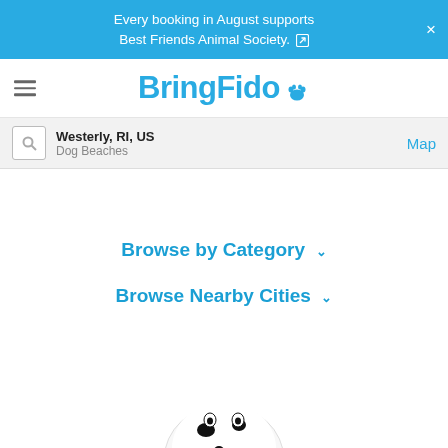Every booking in August supports Best Friends Animal Society.
BringFido
Westerly, RI, US — Dog Beaches
Map
Browse by Category
Browse Nearby Cities
[Figure (illustration): Dalmatian dog illustration at the bottom of the page, partially visible]